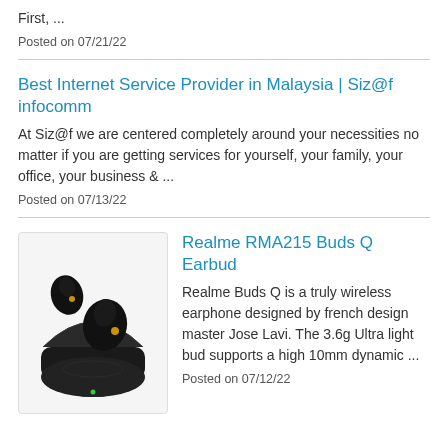First, ...
Posted on 07/21/22
Best Internet Service Provider in Malaysia | Siz@f infocomm
At Siz@f we are centered completely around your necessities no matter if you are getting services for yourself, your family, your office, your business & ...
Posted on 07/13/22
[Figure (photo): Black Realme Buds Q true wireless earbuds with charging case]
Realme RMA215 Buds Q Earbud
Realme Buds Q is a truly wireless earphone designed by french design master Jose Lavi. The 3.6g Ultra light bud supports a high 10mm dynamic ...
Posted on 07/12/22